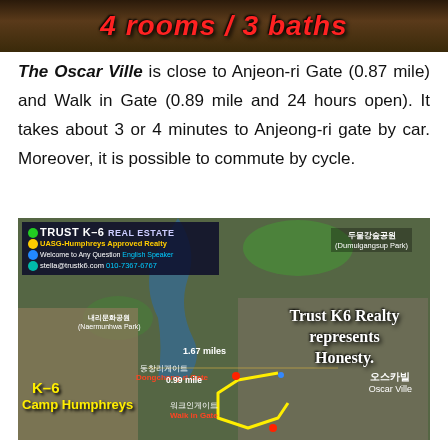[Figure (photo): Top banner image showing building exterior with red bold italic text '4 rooms / 3 baths' overlaid on dark background]
The Oscar Ville is close to Anjeon-ri Gate (0.87 mile) and Walk in Gate (0.89 mile and 24 hours open). It takes about 3 or 4 minutes to Anjeong-ri gate by car. Moreover, it is possible to commute by cycle.
[Figure (map): Aerial satellite map showing K-6 Camp Humphreys area in Korea with Trust K-6 Real Estate branding, showing Oscar Ville location, Dongchang-ri Gate, Walk in Gate, distances of 1.67 miles and 0.99 mile, parks labeled in Korean and English, Trust K6 Realty Represents Honesty text, yellow route line, contact info stella@trustk6.com 010-7367-6767]